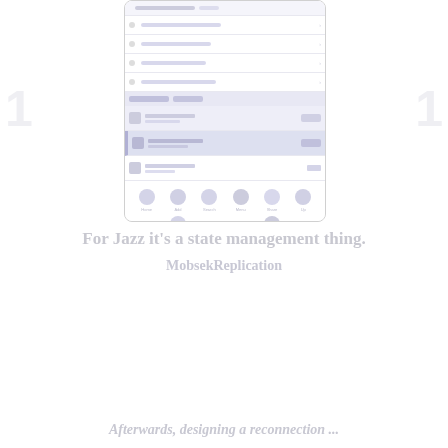[Figure (screenshot): A faded/washed-out screenshot of a mobile app interface showing a list/navigation UI with rows, icons, section headers, and an icon grid at the bottom. The UI appears to be a settings or menu screen with multiple items and small icons.]
For Jazz it's a state management thing. MobsekReplication
Afterwards, designing a reconnection ...